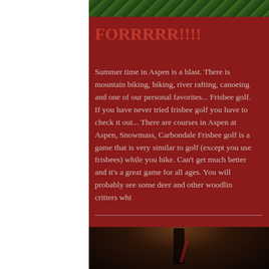[Figure (photo): Top portion of a photo showing green foliage/plant material against a dark background]
FORRRRR!!!!
Summer time in Aspen is a blast. There is mountain biking, hiking, river rafting, canoeing and one of our personal favorites... Frisbee golf. If you have never tried frisbee golf you have to check it out... There are courses in Aspen at Aspen, Snowmass, Carbondale Frisbee golf is a game that is very similar to golf (except you use frisbees) while you hike. Can't get much better and it's a great game for all ages. You will probably see some deer and other woodlin critters whi
[Figure (photo): Photo of red wine being poured from a bottle into a glass, dark background with warm highlights]